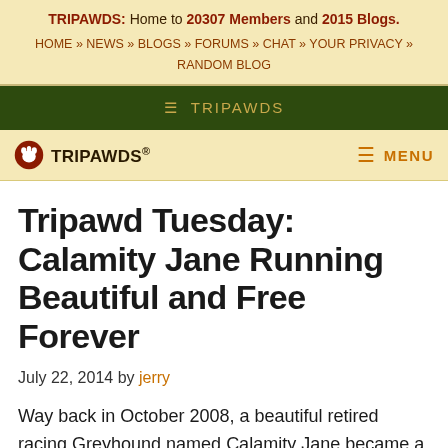TRIPAWDS: Home to 20307 Members and 2015 Blogs. HOME » NEWS » BLOGS » FORUMS » CHAT » YOUR PRIVACY » RANDOM BLOG
≡ TRIPAWDS
TRIPAWDS® | ≡ MENU
Tripawd Tuesday: Calamity Jane Running Beautiful and Free Forever
July 22, 2014 by jerry
Way back in October 2008, a beautiful retired racing Greyhound named Calamity Jane became a part of the Tripawds Nation, after she broke her weakened front leg for the second time because of